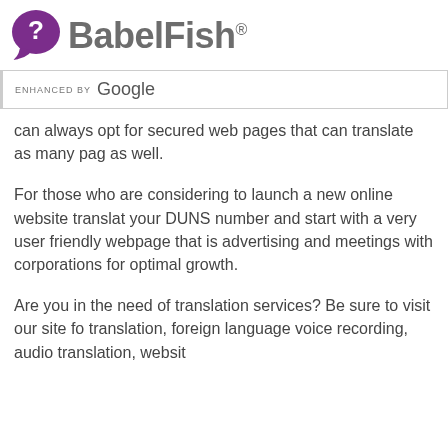[Figure (logo): BabelFish logo with purple speech bubble containing a white question mark, followed by bold gray text 'BabelFish' with registered trademark symbol]
ENHANCED BY Google
can always opt for secured web pages that can translate as many pag as well.
For those who are considering to launch a new online website translat your DUNS number and start with a very user friendly webpage that is advertising and meetings with corporations for optimal growth.
Are you in the need of translation services? Be sure to visit our site fo translation, foreign language voice recording, audio translation, websit